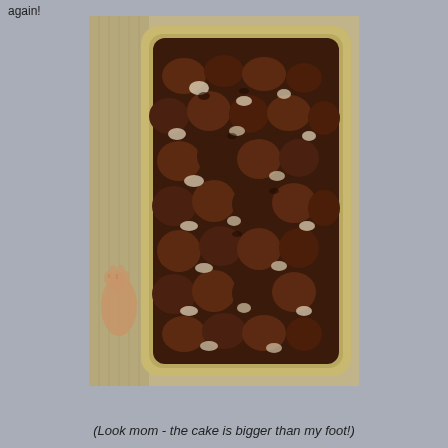again!
[Figure (photo): Overhead view of a chocolate baked cake or monkey bread in a rectangular metal loaf pan, sitting on a carpeted floor with a bare foot visible at the lower left side.]
(Look mom - the cake is bigger than my foot!)